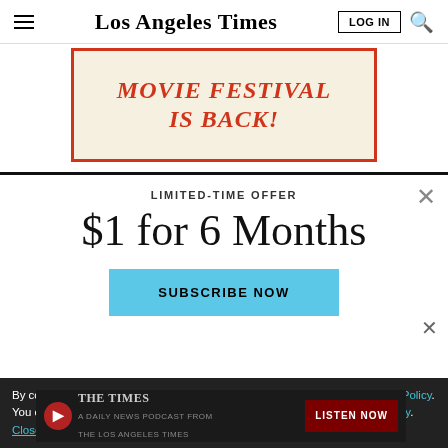Los Angeles Times
[Figure (illustration): Los Angeles Times Movie Festival advertisement banner with red border and cream background, text 'MOVIE FESTIVAL IS BACK!' in bold red italic font]
LIMITED-TIME OFFER
$1 for 6 Months
SUBSCRIBE NOW
By continuing to use our site, you agree to our Terms of Service and Privacy Policy. You can learn more about how we use cookies by reviewing our Privacy Policy. Close